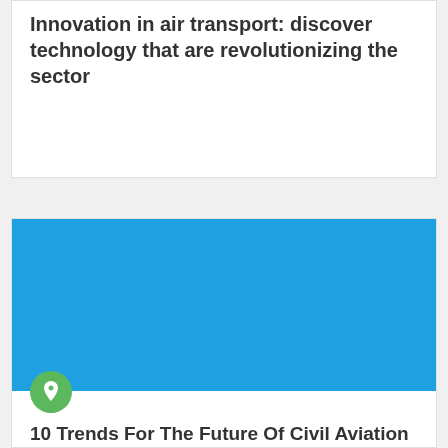Innovation in air transport: discover technology that are revolutionizing the sector
[Figure (illustration): Solid blue rectangle placeholder image for an aviation article]
10 Trends For The Future Of Civil Aviation